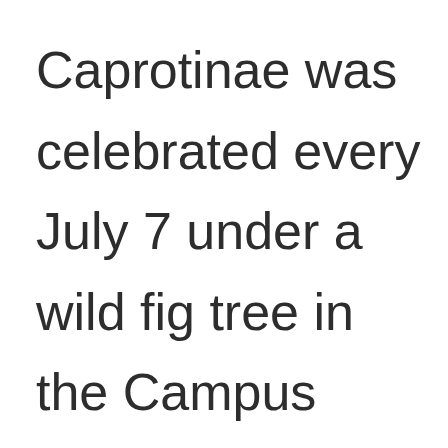Caprotinae was celebrated every July 7 under a wild fig tree in the Campus Martius. Who is the Greek x